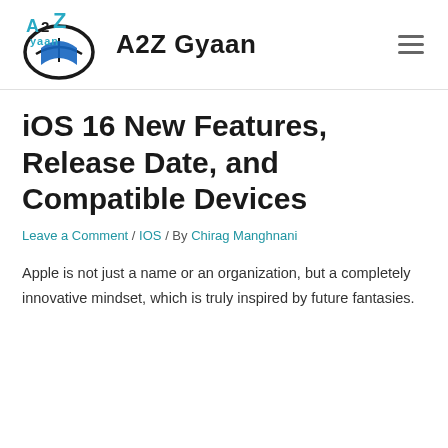A2Z Gyaan
iOS 16 New Features, Release Date, and Compatible Devices
Leave a Comment / IOS / By Chirag Manghnani
Apple is not just a name or an organization, but a completely innovative mindset, which is truly inspired by future fantasies.